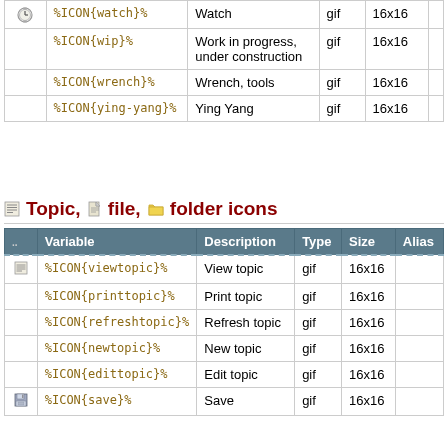|  | Variable | Description | Type | Size |  |
| --- | --- | --- | --- | --- | --- |
| [watch] | %ICON{watch}% | Watch | gif | 16x16 |  |
|  | %ICON{wip}% | Work in progress, under construction | gif | 16x16 |  |
|  | %ICON{wrench}% | Wrench, tools | gif | 16x16 |  |
|  | %ICON{ying-yang}% | Ying Yang | gif | 16x16 |  |
Topic, file, folder icons
|  | Variable | Description | Type | Size | Alias |
| --- | --- | --- | --- | --- | --- |
| [viewtopic] | %ICON{viewtopic}% | View topic | gif | 16x16 |  |
|  | %ICON{printtopic}% | Print topic | gif | 16x16 |  |
|  | %ICON{refreshtopic}% | Refresh topic | gif | 16x16 |  |
|  | %ICON{newtopic}% | New topic | gif | 16x16 |  |
|  | %ICON{edittopic}% | Edit topic | gif | 16x16 |  |
| [save] | %ICON{save}% | Save | gif | 16x16 |  |